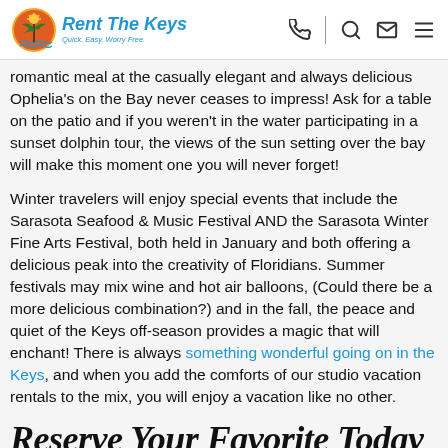Rent The Keys — Quick. Easy. Worry Free.
romantic meal at the casually elegant and always delicious Ophelia's on the Bay never ceases to impress! Ask for a table on the patio and if you weren't in the water participating in a sunset dolphin tour, the views of the sun setting over the bay will make this moment one you will never forget!
Winter travelers will enjoy special events that include the Sarasota Seafood & Music Festival AND the Sarasota Winter Fine Arts Festival, both held in January and both offering a delicious peak into the creativity of Floridians. Summer festivals may mix wine and hot air balloons, (Could there be a more delicious combination?) and in the fall, the peace and quiet of the Keys off-season provides a magic that will enchant! There is always something wonderful going on in the Keys, and when you add the comforts of our studio vacation rentals to the mix, you will enjoy a vacation like no other.
Reserve Your Favorite Today
Adventures are waiting, but your dream Florida Keys studio…